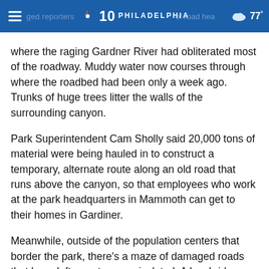NBC 10 PHILADELPHIA | 77°
where the raging Gardner River had obliterated most of the roadway. Muddy water now courses through where the roadbed had been only a week ago. Trunks of huge trees litter the walls of the surrounding canyon.
Park Superintendent Cam Sholly said 20,000 tons of material were being hauled in to construct a temporary, alternate route along an old road that runs above the canyon, so that employees who work at the park headquarters in Mammoth can get to their homes in Gardiner.
Meanwhile, outside of the population centers that border the park, there's a maze of damaged roads that have left remote areas isolated. A key bridge that leads to the town of Fishtail collapsed, causing traffic to divert through a single-lane